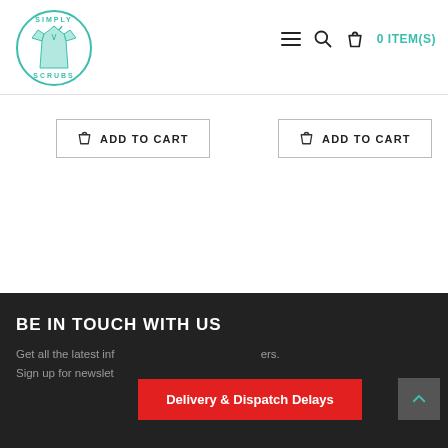Simply Scrubs logo — 0 ITEM(S)
[Figure (logo): Simply Scrubs circular logo with a teal scrubs shirt illustration and text 'SIMPLY SCRUBS' around the circle]
ADD TO CART (left button)
ADD TO CART (right button)
BE IN TOUCH WITH US
Get all the latest information, promotions and offers. Sign up for newsletter
Delivery & Dispatch Delays